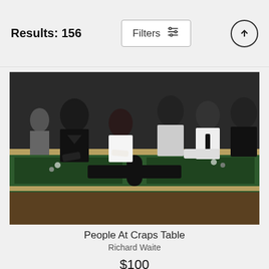Results: 156
Filters
[Figure (photo): Black and white photograph of people gathered around a craps table at a casino. Several men in suits and a woman in a white dress are visible leaning over the gaming table.]
People At Craps Table
Richard Waite
$100